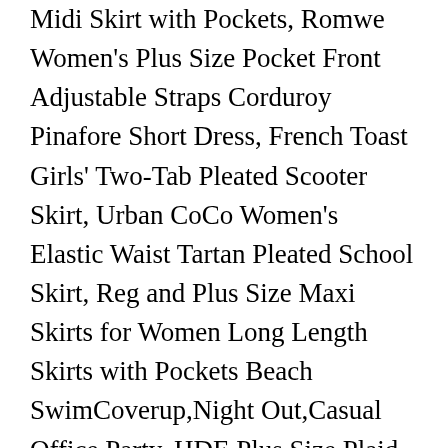Midi Skirt with Pockets, Romwe Women's Plus Size Pocket Front Adjustable Straps Corduroy Pinafore Short Dress, French Toast Girls' Two-Tab Pleated Scooter Skirt, Urban CoCo Women's Elastic Waist Tartan Pleated School Skirt, Reg and Plus Size Maxi Skirts for Women Long Length Skirts with Pockets Beach SwimCoverup,Night Out,Casual Office,Party, HDE Plus Size Plaid Skirt School Girl Lingerie Pleated Mini Skater Skirts, LEEBE Women's Plus Size Casual Maxi Skirt (1X-5X), SheIn Women's Basic Plain Stretchy Ribbed Knit Split Full Length Skirt, PrettyGuide Women's Sequin Skirt High Waist Sparkle Pencil Skirt Party Cocktail, Ekouaer Women's Athletic Golf Skorts